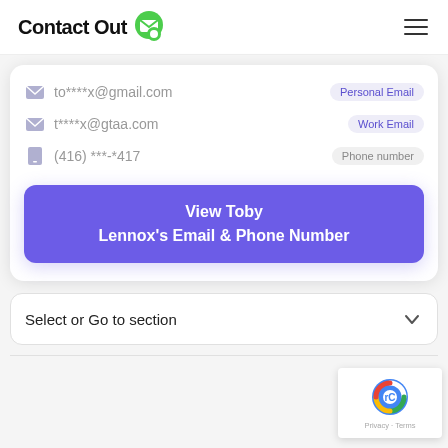ContactOut
to****x@gmail.com  Personal Email
t****x@gtaa.com  Work Email
(416) ***-*417  Phone number
View Toby Lennox's Email & Phone Number
Select or Go to section